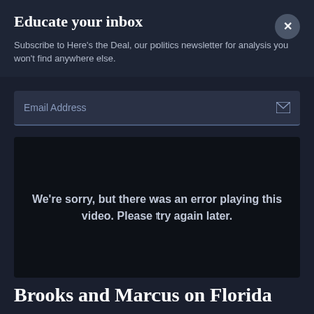Educate your inbox
Subscribe to Here's the Deal, our politics newsletter for analysis you won't find anywhere else.
Email Address
[Figure (screenshot): Video player showing error message: We're sorry, but there was an error playing this video. Please try again later.]
Brooks and Marcus on Florida